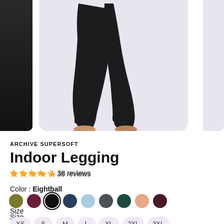[Figure (photo): Model wearing black indoor leggings, showing legs from thigh to bare feet. Left side shows a partial black background image, center has a light lavender/grey background with the main legging product shot, right edge shows a partial continuation of the product image.]
ARCHIVE SUPERSOFT
Indoor Legging
★★★★½ 38 reviews
Color : Eightball
Color swatches: olive, burgundy, black (selected/Eightball), navy, light blue, slate, teal, peach/blush, dark maroon
Size
XS  S  M  L  XL  2XL  3XL